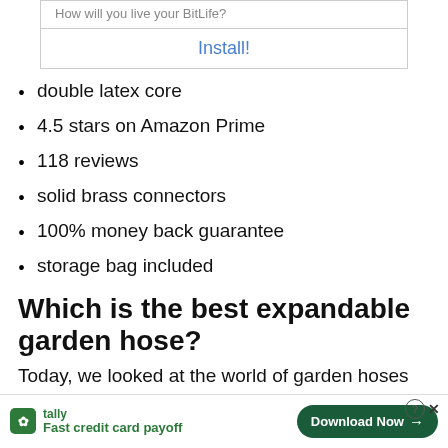[Figure (screenshot): App advertisement box with text 'How will you live your BitLife?' and an Install! button link in blue]
double latex core
4.5 stars on Amazon Prime
118 reviews
solid brass connectors
100% money back guarantee
storage bag included
Which is the best expandable garden hose?
Today, we looked at the world of garden hoses as th…
[Figure (screenshot): Tally app advertisement banner at bottom: 'Fast credit card payoff' with Download Now button, close icons]